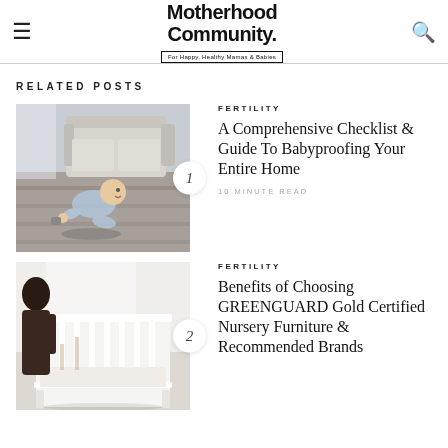Motherhood Community. For Happy, Healthy Mamas & Babies
RELATED POSTS
[Figure (photo): Baby crawling on hardwood floor in living room with sofa in background]
FERTILITY
A Comprehensive Checklist & Guide To Babyproofing Your Entire Home
10 MINUTE READ
[Figure (photo): Woman standing next to white crib in nursery room]
FERTILITY
Benefits of Choosing GREENGUARD Gold Certified Nursery Furniture & Recommended Brands